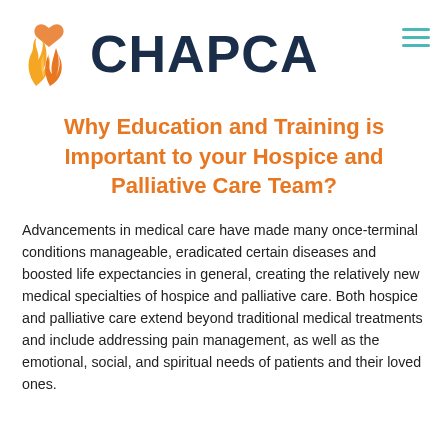CHAPCA
Why Education and Training is Important to your Hospice and Palliative Care Team?
Advancements in medical care have made many once-terminal conditions manageable, eradicated certain diseases and boosted life expectancies in general, creating the relatively new medical specialties of hospice and palliative care. Both hospice and palliative care extend beyond traditional medical treatments and include addressing pain management, as well as the emotional, social, and spiritual needs of patients and their loved ones.